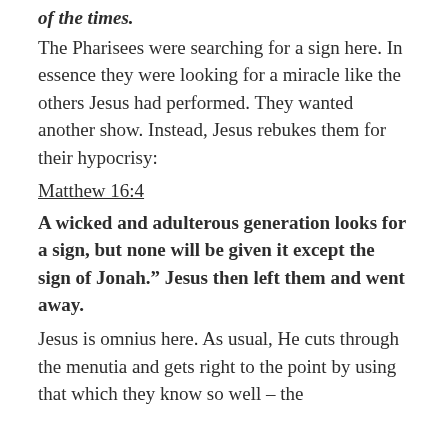of the times.
The Pharisees were searching for a sign here. In essence they were looking for a miracle like the others Jesus had performed. They wanted another show. Instead, Jesus rebukes them for their hypocrisy:
Matthew 16:4
A wicked and adulterous generation looks for a sign, but none will be given it except the sign of Jonah.” Jesus then left them and went away.
Jesus is omnius here. As usual, He cuts through the menutia and gets right to the point by using that which they know so well – the Torah (Old Testament). God and the